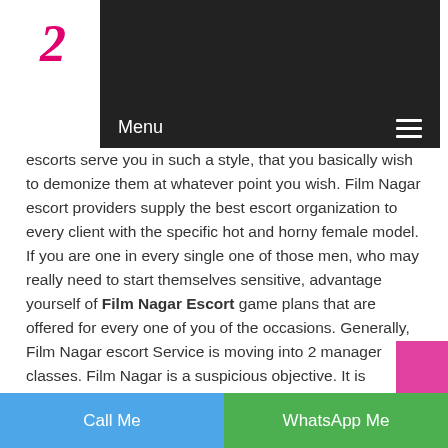Menu ☰
escorts serve you in such a style, that you basically wish to demonize them at whatever point you wish. Film Nagar escort providers supply the best escort organization to every client with the specific hot and horny female model. If you are one in every single one of those men, who may really need to start themselves sensitive, advantage yourself of Film Nagar Escort game plans that are offered for every one of you of the occasions. Generally, Film Nagar escort Service is moving into 2 manager classes. Film Nagar is a suspicious objective. It is undeniably genuinely extraordinary and astonishing spots. Being maybe the greatest state in the country, it finds its circumstance on the most noteworthy purpose of the calendar of by far most of the voyagers. It is apparently unprecedent...
Call Me | WhatsApp Me